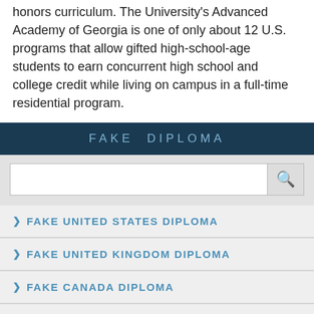honors curriculum. The University's Advanced Academy of Georgia is one of only about 12 U.S. programs that allow gifted high-school-age students to earn concurrent high school and college credit while living on campus in a full-time residential program.
FAKE DIPLOMA
FAKE UNITED STATES DIPLOMA
FAKE UNITED KINGDOM DIPLOMA
FAKE CANADA DIPLOMA
FAKE AUSTRALIA DIPLOMA
FAKE MALAYSIA DIPLOMA
FAKE GERMANY DIPLOMA